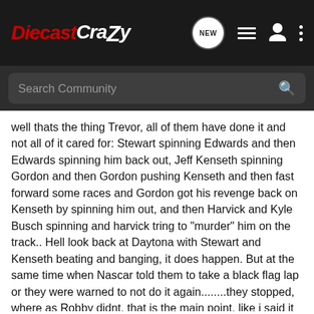DiecastCrazy — navigation bar with logo, NEW chat bubble, list icon, user icon, dots icon
Search Community
well thats the thing Trevor, all of them have done it and not all of it cared for: Stewart spinning Edwards and then Edwards spinning him back out, Jeff Kenseth spinning Gordon and then Gordon pushing Kenseth and then fast forward some races and Gordon got his revenge back on Kenseth by spinning him out, and then Harvick and Kyle Busch spinning and harvick tring to "murder" him on the track.. Hell look back at Daytona with Stewart and Kenseth beating and banging, it does happen. But at the same time when Nascar told them to take a black flag lap or they were warned to not do it again........they stopped, where as Robby didnt. that is the main point. like i said it was heat of the moment but the moment had passed because they had to run several caution laps to try and figure the running order and hell the whole time Robby was hitting Ambrose in the back. Like i said nascar should have parked the whole field and delt with Robby...